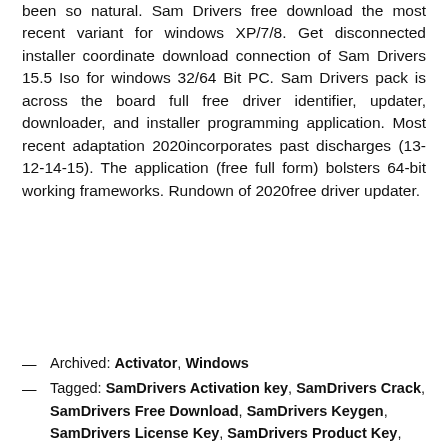been so natural. Sam Drivers free download the most recent variant for windows XP/7/8. Get disconnected installer coordinate download connection of Sam Drivers 15.5 Iso for windows 32/64 Bit PC. Sam Drivers pack is across the board full free driver identifier, updater, downloader, and installer programming application. Most recent adaptation 2020incorporates past discharges (13-12-14-15). The application (free full form) bolsters 64-bit working frameworks. Rundown of 2020free driver updater.
— Archived: Activator, Windows
— Tagged: SamDrivers Activation key, SamDrivers Crack, SamDrivers Free Download, SamDrivers Keygen, SamDrivers License Key, SamDrivers Product Key,